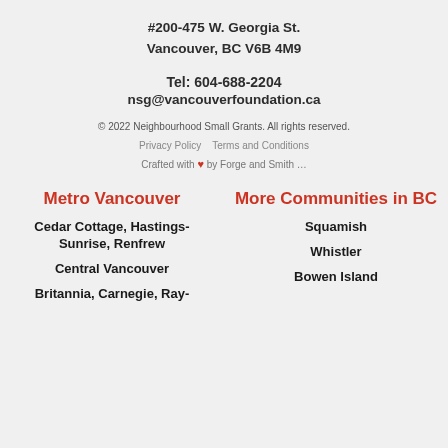#200-475 W. Georgia St.
Vancouver, BC V6B 4M9
Tel: 604-688-2204
nsg@vancouverfoundation.ca
© 2022 Neighbourhood Small Grants. All rights reserved.
Privacy Policy   Terms and Conditions
Crafted with ❤ by Forge and Smith …
Metro Vancouver
More Communities in BC
Cedar Cottage, Hastings-Sunrise, Renfrew
Squamish
Central Vancouver
Whistler
Britannia, Carnegie, Ray-
Bowen Island